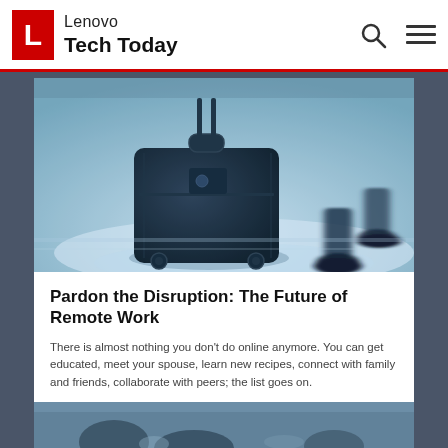Lenovo Tech Today
[Figure (photo): Person pulling a rolling suitcase/luggage, blue-tinted motion-blur airport photo]
Pardon the Disruption: The Future of Remote Work
There is almost nothing you don't do online anymore. You can get educated, meet your spouse, learn new recipes, connect with family and friends, collaborate with peers; the list goes on.
[Figure (photo): Partial photo at bottom of page, appears to show a person or object, cropped]